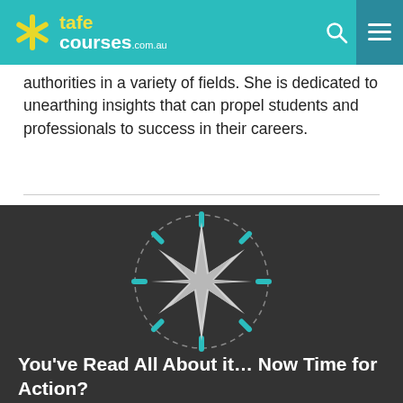tafe courses .com.au
authorities in a variety of fields. She is dedicated to unearthing insights that can propel students and professionals to success in their careers.
[Figure (illustration): Dark background section with a compass star/starburst illustration surrounded by a dashed circle, with teal/cyan accent dashes radiating outward.]
You’ve Read All About it… Now Time for Action?
Use the NaviGator to discover a personalised list of courses for you. Commitment free.